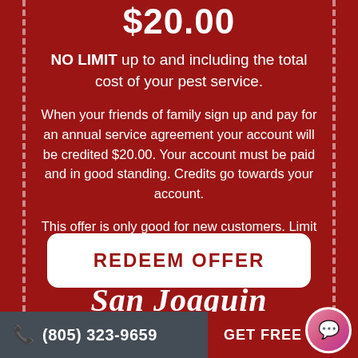$20.00
NO LIMIT up to and including the total cost of your pest service.
When your friends of family sign up and pay for an annual service agreement your account will be credited $20.00. Your account must be paid and in good standing. Credits go towards your account.
This offer is only good for new customers. Limit 1 per customer. Must be paid and in good standing to receive your free treatment.
REDEEM OFFER
San Joaquin
(805) 323-9659  GET FREE ESTI...